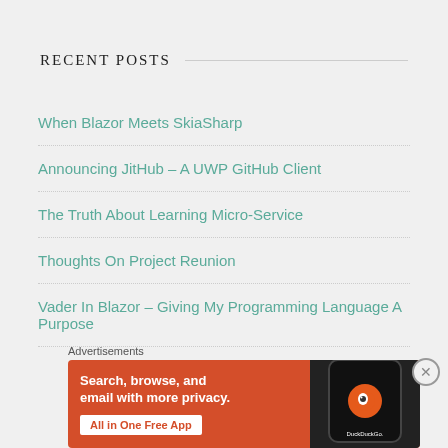RECENT POSTS
When Blazor Meets SkiaSharp
Announcing JitHub – A UWP GitHub Client
The Truth About Learning Micro-Service
Thoughts On Project Reunion
Vader In Blazor – Giving My Programming Language A Purpose
Advertisements
[Figure (infographic): DuckDuckGo advertisement banner on orange background with text: Search, browse, and email with more privacy. All in One Free App — with a phone showing DuckDuckGo logo on the right side.]